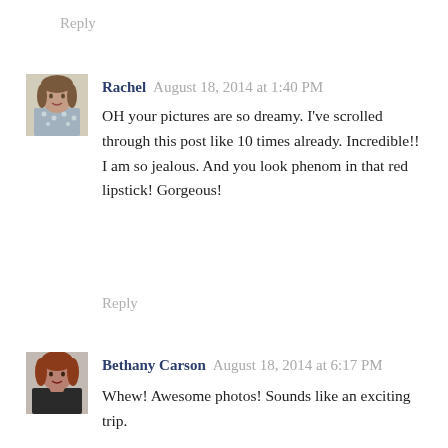Reply
[Figure (photo): Avatar photo of Rachel, a woman in a floral top]
Rachel August 18, 2014 at 1:40 PM
OH your pictures are so dreamy. I've scrolled through this post like 10 times already. Incredible!! I am so jealous. And you look phenom in that red lipstick! Gorgeous!
Reply
[Figure (photo): Avatar photo of Bethany Carson, a woman with reddish hair]
Bethany Carson August 18, 2014 at 6:17 PM
Whew! Awesome photos! Sounds like an exciting trip.